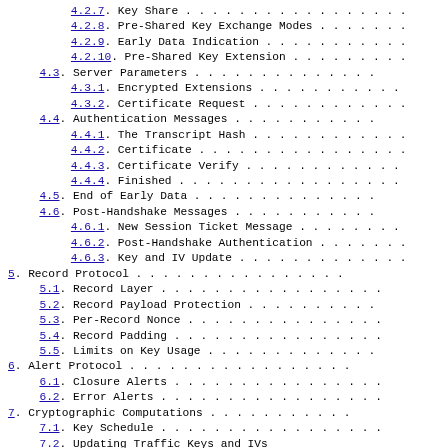4.2.7. Key Share . . . . . . . . . . . . . . . . .
4.2.8. Pre-Shared Key Exchange Modes . . . . . . .
4.2.9. Early Data Indication . . . . . . . . . . .
4.2.10. Pre-Shared Key Extension . . . . . . . . .
4.3. Server Parameters . . . . . . . . . . . . . .
4.3.1. Encrypted Extensions . . . . . . . . . . .
4.3.2. Certificate Request . . . . . . . . . . . .
4.4. Authentication Messages . . . . . . . . . . .
4.4.1. The Transcript Hash . . . . . . . . . . . .
4.4.2. Certificate . . . . . . . . . . . . . . . .
4.4.3. Certificate Verify . . . . . . . . . . . . .
4.4.4. Finished . . . . . . . . . . . . . . . . . .
4.5. End of Early Data . . . . . . . . . . . . . .
4.6. Post-Handshake Messages . . . . . . . . . . .
4.6.1. New Session Ticket Message . . . . . . . .
4.6.2. Post-Handshake Authentication . . . . . . .
4.6.3. Key and IV Update . . . . . . . . . . . . .
5. Record Protocol . . . . . . . . . . . . . . . .
5.1. Record Layer . . . . . . . . . . . . . . . . .
5.2. Record Payload Protection . . . . . . . . . .
5.3. Per-Record Nonce . . . . . . . . . . . . . . .
5.4. Record Padding . . . . . . . . . . . . . . . .
5.5. Limits on Key Usage . . . . . . . . . . . . .
6. Alert Protocol . . . . . . . . . . . . . . . . .
6.1. Closure Alerts . . . . . . . . . . . . . . . .
6.2. Error Alerts . . . . . . . . . . . . . . . . .
7. Cryptographic Computations . . . . . . . . . . .
7.1. Key Schedule . . . . . . . . . . . . . . . . .
7.2. Updating Traffic Keys and IVs